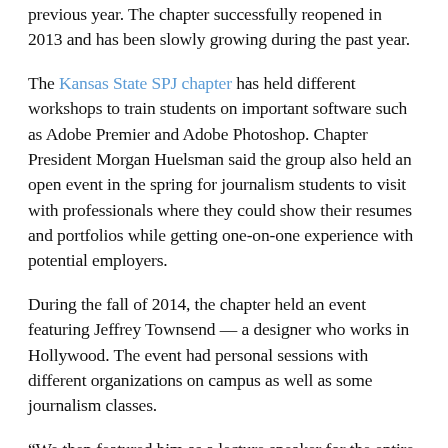previous year. The chapter successfully reopened in 2013 and has been slowly growing during the past year.
The Kansas State SPJ chapter has held different workshops to train students on important software such as Adobe Premier and Adobe Photoshop. Chapter President Morgan Huelsman said the group also held an open event in the spring for journalism students to visit with professionals where they could show their resumes and portfolios while getting one-on-one experience with potential employers.
During the fall of 2014, the chapter held an event featuring Jeffrey Townsend — a designer who works in Hollywood. The event had personal sessions with different organizations on campus as well as some journalism classes.
“We then featured him as a lecture speaker for the entire campus,” Huelsman said. “For this upcoming spring, we are planning on creating at least four more workshops featuring different softwares. We are also heavily helping with a Networking Night for the entire K-State journalism school…”